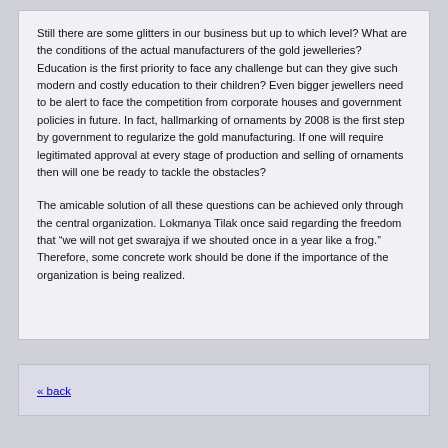Still there are some glitters in our business but up to which level? What are the conditions of the actual manufacturers of the gold jewelleries? Education is the first priority to face any challenge but can they give such modern and costly education to their children? Even bigger jewellers need to be alert to face the competition from corporate houses and government policies in future. In fact, hallmarking of ornaments by 2008 is the first step by government to regularize the gold manufacturing. If one will require legitimated approval at every stage of production and selling of ornaments then will one be ready to tackle the obstacles?
The amicable solution of all these questions can be achieved only through the central organization. Lokmanya Tilak once said regarding the freedom that “we will not get swarajya if we shouted once in a year like a frog.” Therefore, some concrete work should be done if the importance of the organization is being realized.
« back